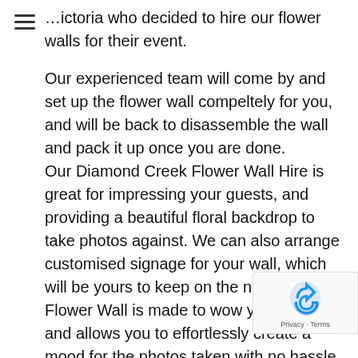…ictoria who decided to hire our flower walls for their event.
Our experienced team will come by and set up the flower wall compeltely for you, and will be back to disassemble the wall and pack it up once you are done. Our Diamond Creek Flower Wall Hire is great for impressing your guests, and providing a beautiful floral backdrop to take photos against. We can also arrange customised signage for your wall, which will be yours to keep on the night. The Flower Wall is made to wow your guests, and allows you to effortlessly create a mood for the photos taken with no hassle.
Which flower wall should I select?
We always recommend selecting a wall that will